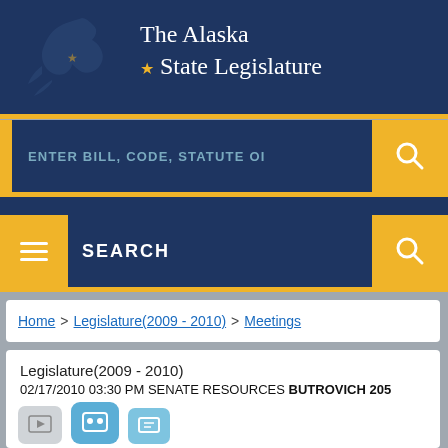The Alaska State Legislature
ENTER BILL, CODE, STATUTE OR
SEARCH
Home > Legislature(2009 - 2010) > Meetings
Legislature(2009 - 2010)
02/17/2010 03:30 PM SENATE RESOURCES  BUTROVICH 205
[Figure (screenshot): Icon buttons at the bottom of the meeting card]